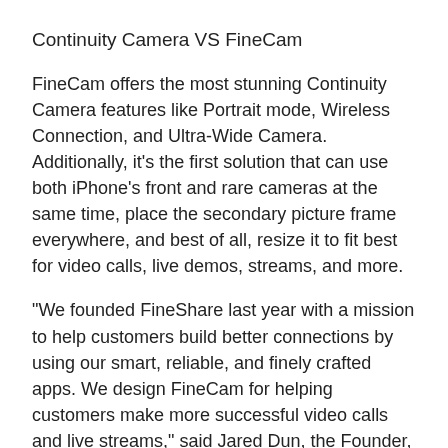Continuity Camera VS FineCam
FineCam offers the most stunning Continuity Camera features like Portrait mode, Wireless Connection, and Ultra-Wide Camera. Additionally, it's the first solution that can use both iPhone's front and rare cameras at the same time, place the secondary picture frame everywhere, and best of all, resize it to fit best for video calls, live demos, streams, and more.
"We founded FineShare last year with a mission to help customers build better connections by using our smart, reliable, and finely crafted apps. We design FineCam for helping customers make more successful video calls and live streams," said Jared Dun, the Founder, and CEO of FineShare Co., Ltd. "With advanced webcam enhancing and customizing features, FineCam can bring a lot of possibilities for your video calls."
Product information: https://www.fineshare.com/finecam/
FineCam also excels at enhancing the video quality with